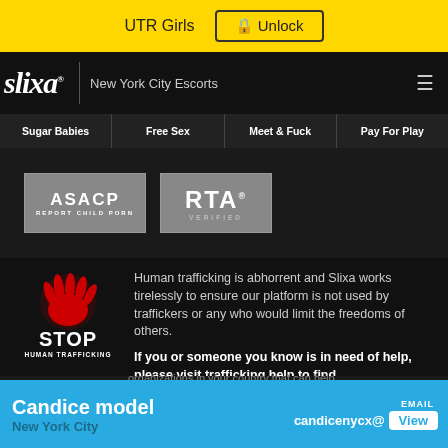UTR Girls  🔒 Unlock
[Figure (logo): Slixa logo with New York City Escorts navigation bar and hamburger menu]
Sugar Babies | Free Sex | Meet & Fuck | Pay For Play
[Figure (logo): ASACP - Report Child Porn badge and RTA Verified badge]
[Figure (illustration): Red handprint with STOP HUMAN TRAFFICKING text]
Human trafficking is abhorrent and Slixa works tirelessly to ensure our platform is not used by traffickers or any who would limit the freedoms of others.
If you or someone you know is in need of help, please visit trafficking.help to find organizations in your country that can help.
Candice model - New York City | EMAIL candicenycx@ View